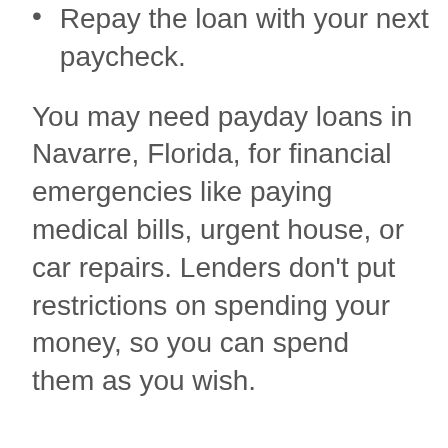Repay the loan with your next paycheck.
You may need payday loans in Navarre, Florida, for financial emergencies like paying medical bills, urgent house, or car repairs. Lenders don’t put restrictions on spending your money, so you can spend them as you wish.